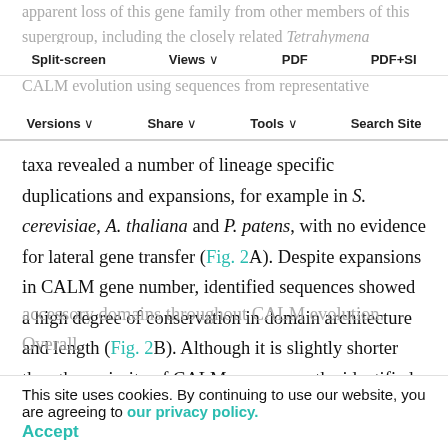apparent loss of this gene family from other members of this supergroup, including the closely related Tetrahymena thermophila (data not shown). Phylogenetic reconstruction of CALM evolution using sequences from representative
Split-screen | Views | PDF | PDF+SI | Versions | Share | Tools | Search Site
taxa revealed a number of lineage specific duplications and expansions, for example in S. cerevisiae, A. thaliana and P. patens, with no evidence for lateral gene transfer (Fig. 2A). Despite expansions in CALM gene number, identified sequences showed a high degree of conservation in domain architecture and length (Fig. 2B). Although it is slightly shorter than the majority of CALM sequences, the identified CALM homologues from the Excavata, the supergroup to which trypanosomes belong, do not appear
This site uses cookies. By continuing to use our website, you are agreeing to our privacy policy. Accept
accessory domains throughout CALM evolution. Overall,